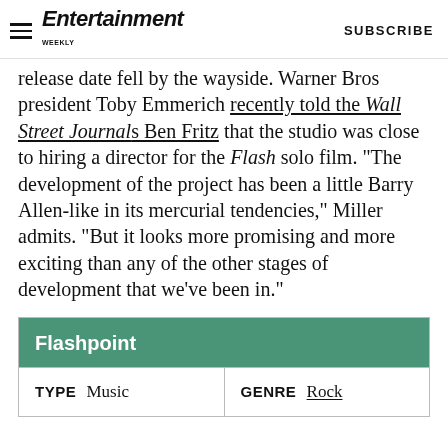Entertainment Weekly  SUBSCRIBE
release date fell by the wayside. Warner Bros president Toby Emmerich recently told the Wall Street Journal's Ben Fritz that the studio was close to hiring a director for the Flash solo film. “The development of the project has been a little Barry Allen-like in its mercurial tendencies,” Miller admits. “But it looks more promising and more exciting than any of the other stages of development that we’ve been in.”
| Flashpoint |
| --- |
| TYPE  Music | GENRE  Rock |